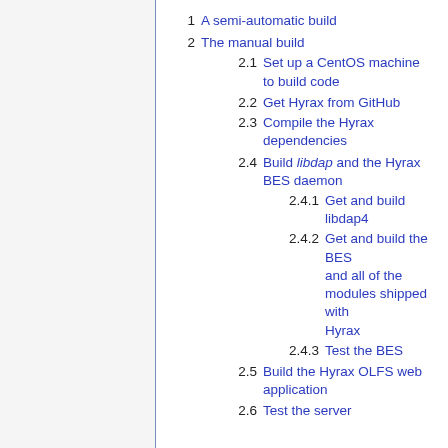1  A semi-automatic build
2  The manual build
2.1  Set up a CentOS machine to build code
2.2  Get Hyrax from GitHub
2.3  Compile the Hyrax dependencies
2.4  Build libdap and the Hyrax BES daemon
2.4.1  Get and build libdap4
2.4.2  Get and build the BES and all of the modules shipped with Hyrax
2.4.3  Test the BES
2.5  Build the Hyrax OLFS web application
2.6  Test the server